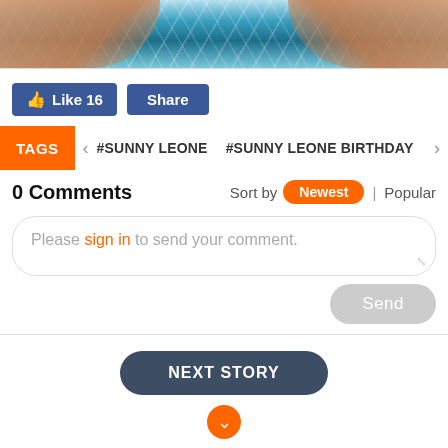[Figure (photo): Partial view of a swimmer in a pool, blue water with white ripples, skin-toned arms visible]
Like 16   Share
TAGS  #SUNNY LEONE  #SUNNY LEONE BIRTHDAY  #S >
0 Comments   Sort by  Newest  |  Popular
Please sign in to send your comment.
Send
NEXT STORY
MOST POPULAR